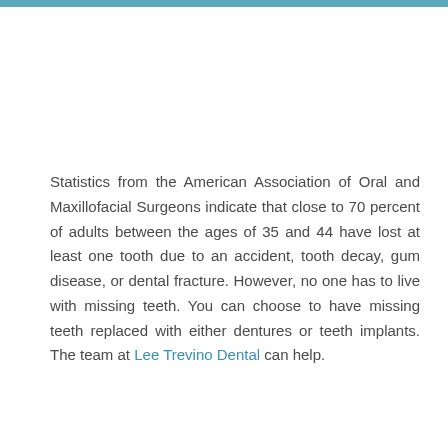Statistics from the American Association of Oral and Maxillofacial Surgeons indicate that close to 70 percent of adults between the ages of 35 and 44 have lost at least one tooth due to an accident, tooth decay, gum disease, or dental fracture. However, no one has to live with missing teeth. You can choose to have missing teeth replaced with either dentures or teeth implants. The team at Lee Trevino Dental can help.